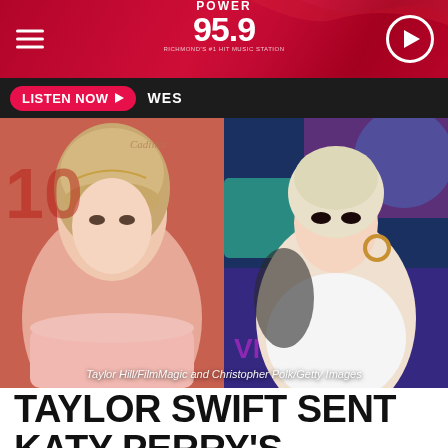POWER 95.9
LISTEN NOW ▶  WES
[Figure (photo): Side-by-side photos of Taylor Swift (left, wearing floral headpiece, pink dress, against red background) and Katy Perry (right, platinum pixie cut, white outfit, against colorful VMA background). Credit: Taylor Hill/FilmMagic and Christopher Polk/Getty Images]
Taylor Hill/FilmMagic and Christopher Polk/Getty Images
TAYLOR SWIFT SENT KATY PERRY'S NEWBORN A HAND-